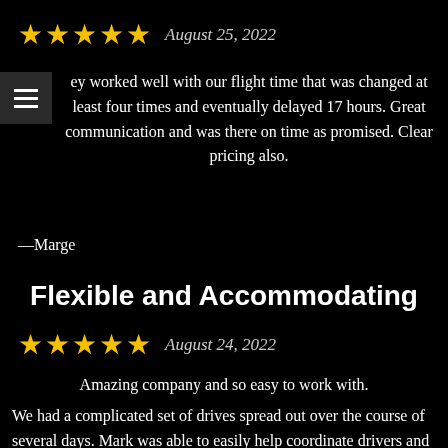[Figure (other): 5 gold stars rating]
August 25, 2022
ey worked well with our flight time that was changed at least four times and eventually delayed 17 hours. Great communication and was there on time as promised. Clear pricing also.
—Marge
Flexible and Accommodating
[Figure (other): 5 gold stars rating]
August 24, 2022
Amazing company and so easy to work with.
We had a complicated set of drives spread out over the course of several days. Mark was able to easily help coordinate drivers and times. He stayed in communication throughout the entire